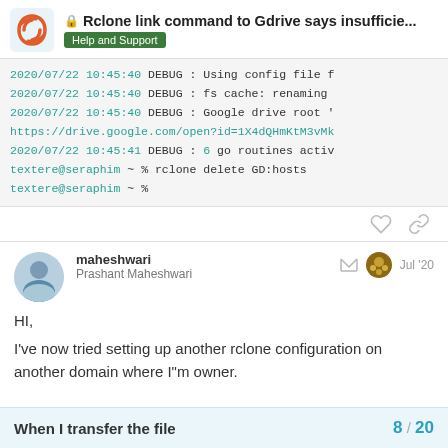🔒 Rclone link command to Gdrive says insufficie... — Help and Support
2020/07/22 10:45:40 DEBUG : Using config file f
2020/07/22 10:45:40 DEBUG : fs cache: renaming
2020/07/22 10:45:40 DEBUG : Google drive root '
https://drive.google.com/open?id=1X4dQHmKtM3vMk
2020/07/22 10:45:41 DEBUG : 6 go routines activ
textere@seraphim ~ % rclone delete GD:hosts
textere@seraphim ~ %
maheshwari
Prashant Maheshwari
Jul '20
HI,
I've now tried setting up another rclone configuration on another domain where I"m owner.
When I transfer the file
8 / 20